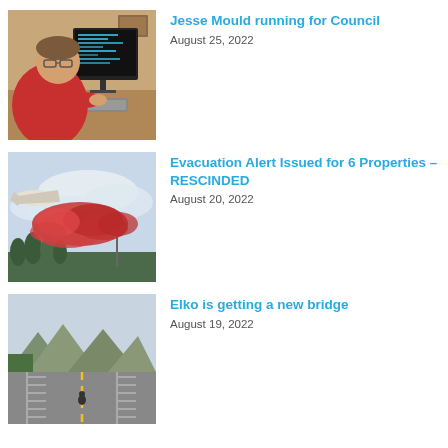[Figure (photo): Man in red shirt sitting at a desk working on a computer with a monitor displaying code]
Jesse Mould running for Council
August 25, 2022
[Figure (photo): Aircraft dropping red fire retardant, flying over trees against a cloudy sky]
Evacuation Alert Issued for 6 Properties – RESCINDED
August 20, 2022
[Figure (photo): Road/bridge scene with trees and mountains in the background]
Elko is getting a new bridge
August 19, 2022